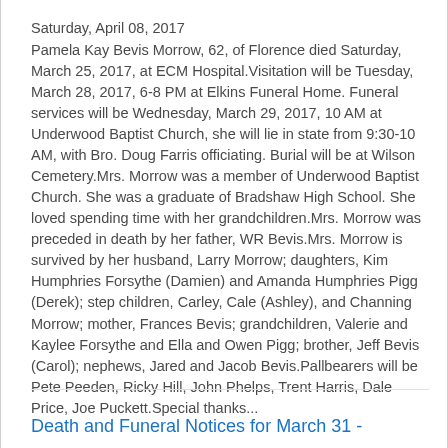Saturday, April 08, 2017
Pamela Kay Bevis Morrow, 62, of Florence died Saturday, March 25, 2017, at ECM Hospital.Visitation will be Tuesday, March 28, 2017, 6-8 PM at Elkins Funeral Home. Funeral services will be Wednesday, March 29, 2017, 10 AM at Underwood Baptist Church, she will lie in state from 9:30-10 AM, with Bro. Doug Farris officiating. Burial will be at Wilson Cemetery.Mrs. Morrow was a member of Underwood Baptist Church. She was a graduate of Bradshaw High School. She loved spending time with her grandchildren.Mrs. Morrow was preceded in death by her father, WR Bevis.Mrs. Morrow is survived by her husband, Larry Morrow; daughters, Kim Humphries Forsythe (Damien) and Amanda Humphries Pigg (Derek); step children, Carley, Cale (Ashley), and Channing Morrow; mother, Frances Bevis; grandchildren, Valerie and Kaylee Forsythe and Ella and Owen Pigg; brother, Jeff Bevis (Carol); nephews, Jared and Jacob Bevis.Pallbearers will be Pete Peeden, Ricky Hill, John Phelps, Trent Harris, Dale Price, Joe Puckett.Special thanks...
Death and Funeral Notices for March 31 -